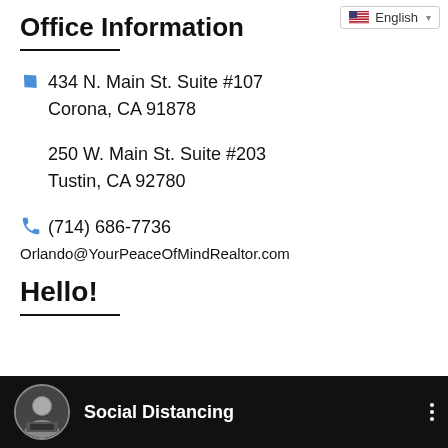[Figure (screenshot): Language selector dropdown showing English with US flag icon]
Office Information
434 N. Main St. Suite #107
Corona, CA 91878
250 W. Main St. Suite #203
Tustin, CA 92780
(714) 686-7736
Orlando@YourPeaceOfMindRealtor.com
Hello!
[Figure (screenshot): Video thumbnail bar with avatar photo of a man in suit, title 'Social Distancing', on dark background with three-dot menu]